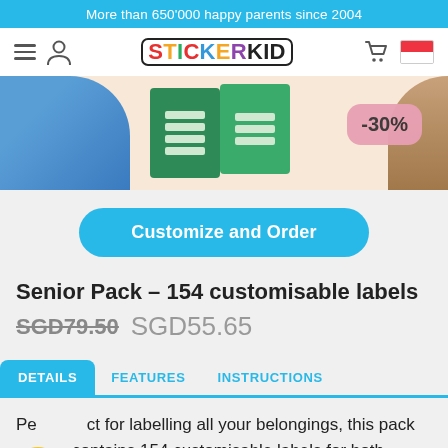More than 650'000 happy parents since 2004
[Figure (logo): StickerKid logo with colorful letters and navigation icons]
[Figure (photo): Hero banner showing customisable sticker labels on a peach/cream background with a -30% discount badge]
Customize and Order
Senior Pack – 154 customisable labels
SGD79.50  SGD55.65
DETAILS  FEATURES  INSTRUCTIONS
Perfect for labelling all your belongings, this pack contains 154 customisable labels for both objects,